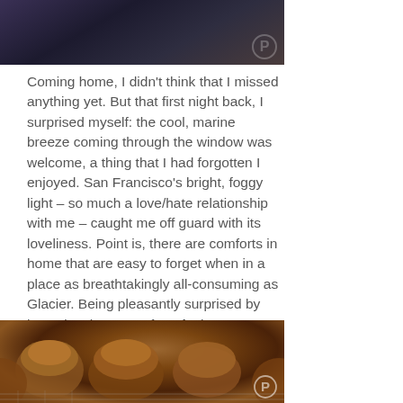[Figure (photo): Dark moody landscape photo, possibly at night or dusk, with a Pinterest watermark badge in the bottom right corner.]
Coming home, I didn't think that I missed anything yet. But that first night back, I surprised myself: the cool, marine breeze coming through the window was welcome, a thing that I had forgotten I enjoyed. San Francisco's bright, foggy light – so much a love/hate relationship with me – caught me off guard with its loveliness. Point is, there are comforts in home that are easy to forget when in a place as breathtakingly all-consuming as Glacier. Being pleasantly surprised by how nice those comforts feel on returning is even better.
[Figure (photo): Close-up photo of baked muffins on a wire cooling rack, with a Pinterest watermark badge visible in the lower right area.]